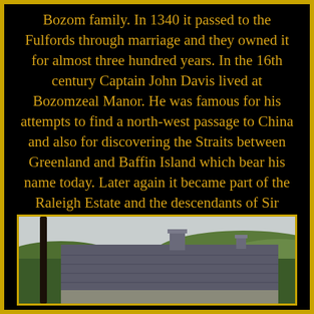Bozom family. In 1340 it passed to the Fulfords through marriage and they owned it for almost three hundred years. In the 16th century Captain John Davis lived at Bozomzeal Manor. He was famous for his attempts to find a north-west passage to China and also for discovering the Straits between Greenland and Baffin Island which bear his name today. Later again it became part of the Raleigh Estate and the descendants of Sir Walter Raleigh owned it up until the second half of the last century. It is Grade II listed by English Heritage.
[Figure (photo): A photograph of a building rooftop with a grey slate roof and chimneys, set against a hilly green landscape and overcast sky. A dark wooden post is visible on the left.]